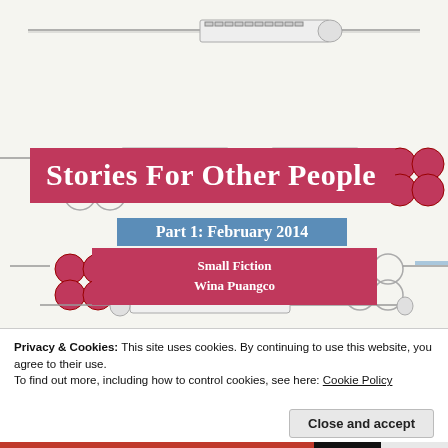[Figure (illustration): Book cover illustration showing multiple syringe-style knuckleduster weapons (syringes with brass-knuckle handles and blades), drawn in blueprint/technical sketch style in grey and pink/red, arranged in rows across the cover background.]
Stories For Other People
Part 1: February 2014
Small Fiction
Wina Puangco
Privacy & Cookies: This site uses cookies. By continuing to use this website, you agree to their use.
To find out more, including how to control cookies, see here: Cookie Policy
Close and accept